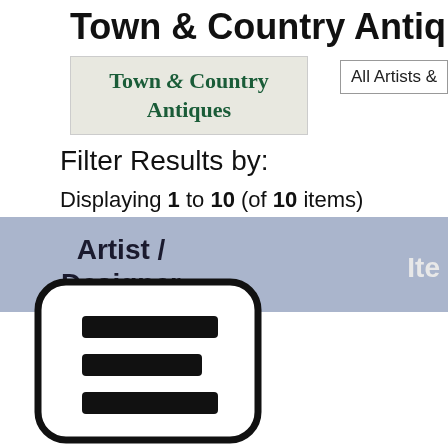Town & Country Antiques
[Figure (logo): Town & Country Antiques logo with dark green serif text on light grey background]
All Artists &
Filter Results by:
Displaying 1 to 10 (of 10 items)
| Artist / Designer | Item |
| --- | --- |
[Figure (illustration): Rounded rectangle icon with three horizontal black bars representing a list or menu]